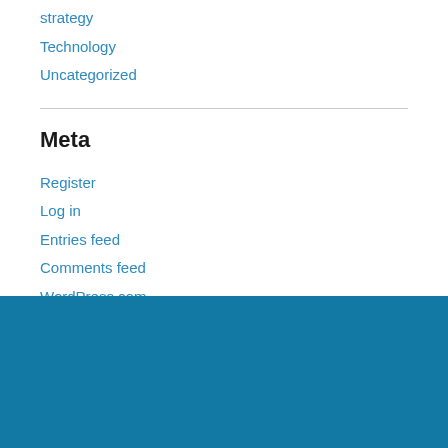strategy
Technology
Uncategorized
Meta
Register
Log in
Entries feed
Comments feed
WordPress.com